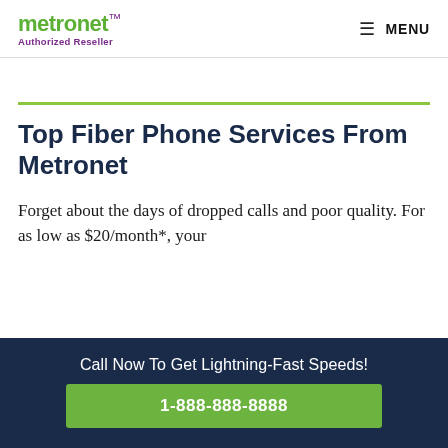metronet Authorized Reseller | MENU
Top Fiber Phone Services From Metronet
Forget about the days of dropped calls and poor quality. For as low as $20/month*, your
Call Now To Get Lightning-Fast Speeds!
1-888-888-8888